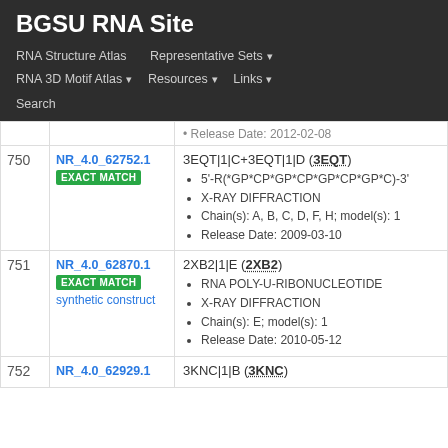BGSU RNA Site
RNA Structure Atlas | Representative Sets ▾ | RNA 3D Motif Atlas ▾ | Resources ▾ | Links ▾ | Search
| # | ID | Details |
| --- | --- | --- |
|  |  | Release Date: 2012-02-08 |
| 750 | NR_4.0_62752.1 EXACT MATCH | 3EQT|1|C+3EQT|1|D (3EQT) • 5'-R(*GP*CP*GP*CP*GP*CP*GP*C)-3' • X-RAY DIFFRACTION • Chain(s): A, B, C, D, F, H; model(s): 1 • Release Date: 2009-03-10 |
| 751 | NR_4.0_62870.1 EXACT MATCH synthetic construct | 2XB2|1|E (2XB2) • RNA POLY-U-RIBONUCLEOTIDE • X-RAY DIFFRACTION • Chain(s): E; model(s): 1 • Release Date: 2010-05-12 |
| 752 | NR_4.0_62929.1 | 3KNC|1|B (3KNC) |